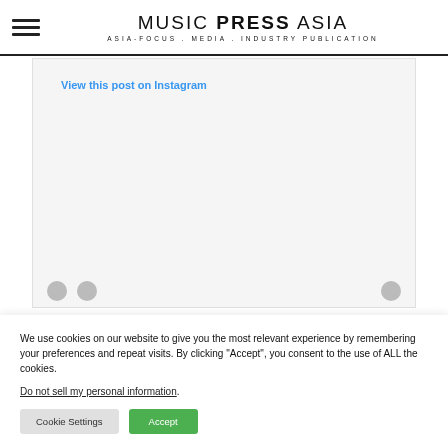MUSIC PRESS ASIA — ASIA-FOCUS . MEDIA . INDUSTRY PUBLICATION
[Figure (screenshot): Instagram embed area with 'View this post on Instagram' link, light grey background, circular profile icons at bottom]
We use cookies on our website to give you the most relevant experience by remembering your preferences and repeat visits. By clicking "Accept", you consent to the use of ALL the cookies.
Do not sell my personal information.
Cookie Settings   Accept